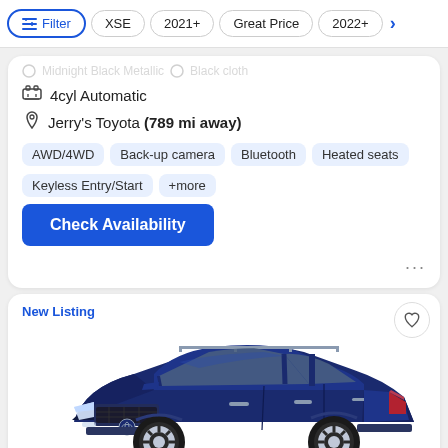Filter | XSE | 2021+ | Great Price | 2022+
Midnight Black Metallic  Black cloth
4cyl Automatic
Jerry's Toyota (789 mi away)
AWD/4WD
Back-up camera
Bluetooth
Heated seats
Keyless Entry/Start
+more
Check Availability
New Listing
[Figure (photo): Dark navy blue Toyota RAV4 SUV, front three-quarter view, shown against white background]